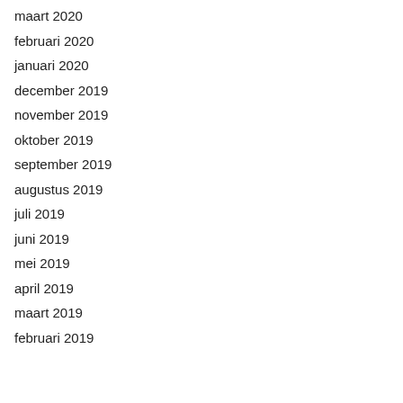maart 2020
februari 2020
januari 2020
december 2019
november 2019
oktober 2019
september 2019
augustus 2019
juli 2019
juni 2019
mei 2019
april 2019
maart 2019
februari 2019